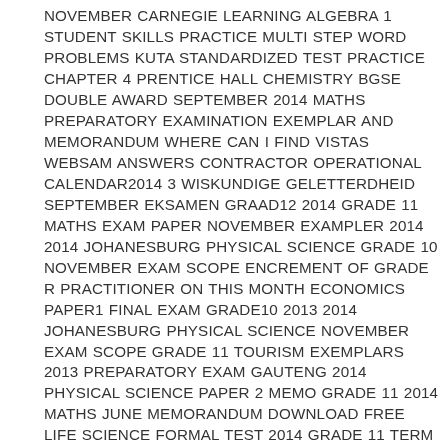NOVEMBER CARNEGIE LEARNING ALGEBRA 1 STUDENT SKILLS PRACTICE MULTI STEP WORD PROBLEMS KUTA STANDARDIZED TEST PRACTICE CHAPTER 4 PRENTICE HALL CHEMISTRY BGSE DOUBLE AWARD SEPTEMBER 2014 MATHS PREPARATORY EXAMINATION EXEMPLAR AND MEMORANDUM WHERE CAN I FIND VISTAS WEBSAM ANSWERS CONTRACTOR OPERATIONAL CALENDAR2014 3 WISKUNDIGE GELETTERDHEID SEPTEMBER EKSAMEN GRAAD12 2014 GRADE 11 MATHS EXAM PAPER NOVEMBER EXAMPLER 2014 2014 JOHANESBURG PHYSICAL SCIENCE GRADE 10 NOVEMBER EXAM SCOPE ENCREMENT OF GRADE R PRACTITIONER ON THIS MONTH ECONOMICS PAPER1 FINAL EXAM GRADE10 2013 2014 JOHANESBURG PHYSICAL SCIENCE NOVEMBER EXAM SCOPE GRADE 11 TOURISM EXEMPLARS 2013 PREPARATORY EXAM GAUTENG 2014 PHYSICAL SCIENCE PAPER 2 MEMO GRADE 11 2014 MATHS JUNE MEMORANDUM DOWNLOAD FREE LIFE SCIENCE FORMAL TEST 2014 GRADE 11 TERM 4 MPUMALANGA MATHS LIT PAPER 2 SEPTEMBER LIFE SCIENCE GRADE 11 PAPER 1 SCOPE MCDOUGAL LITTELL GEOMETRY PRACTICE WORKBOOK ANSWER KEY PDF CONTROL OF BLOOD SUGAR POGIL MACROECONOMICS BLANCHARD 6TH EDITION PDF DOWNLOAD PHOTOSYNTHESIS GIZMO ANSWER KEY GEOGRAPHY P1